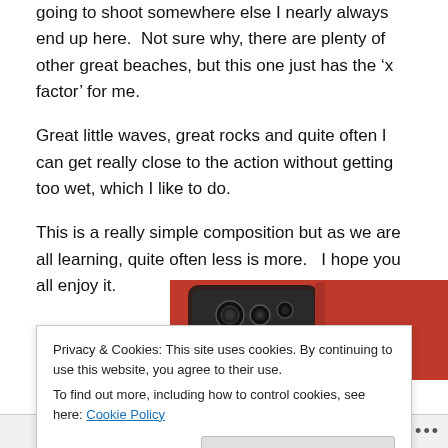going to shoot somewhere else I nearly always end up here.  Not sure why, there are plenty of other great beaches, but this one just has the ‘x factor’ for me.
Great little waves, great rocks and quite often I can get really close to the action without getting too wet, which I like to do.
This is a really simple composition but as we are all learning, quite often less is more.   I hope you all enjoy it.
[Figure (photo): Partial view of a phone with camera lenses on a red background]
Privacy & Cookies: This site uses cookies. By continuing to use this website, you agree to their use.
To find out more, including how to control cookies, see here: Cookie Policy
Close and accept
Follow ...